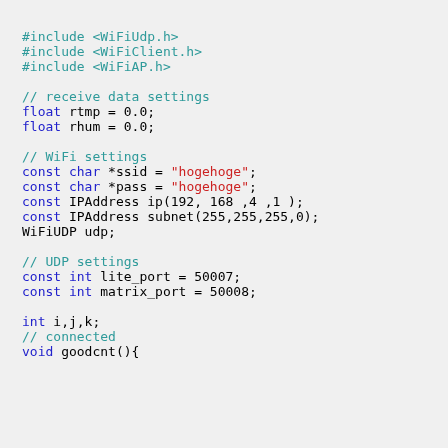#include <WiFiUdp.h>
#include <WiFiClient.h>
#include <WiFiAP.h>

// receive data settings
float rtmp = 0.0;
float rhum = 0.0;

// WiFi settings
const char *ssid = "hogehoge";
const char *pass = "hogehoge";
const IPAddress ip(192, 168 ,4 ,1 );
const IPAddress subnet(255,255,255,0);
WiFiUDP udp;

// UDP settings
const int lite_port = 50007;
const int matrix_port = 50008;

int i,j,k;
// connected
void goodcnt(){